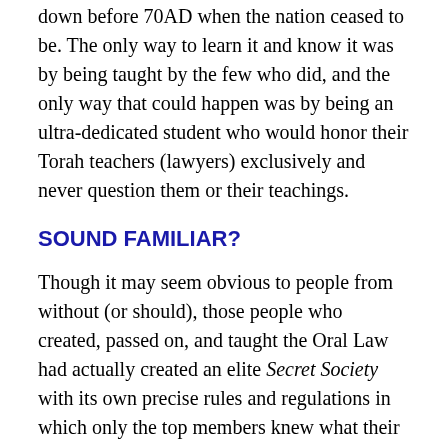down before 70AD when the nation ceased to be. The only way to learn it and know it was by being taught by the few who did, and the only way that could happen was by being an ultra-dedicated student who would honor their Torah teachers (lawyers) exclusively and never question them or their teachings.
SOUND FAMILIAR?
Though it may seem obvious to people from without (or should), those people who created, passed on, and taught the Oral Law had actually created an elite Secret Society with its own precise rules and regulations in which only the top members knew what their Oral Law actually stated in total. Most Israelites were apparently completely unaware of these sinister goings-on. Maybe they never noticed because the internal goings-on were always done essentially in secret the main reason was in the